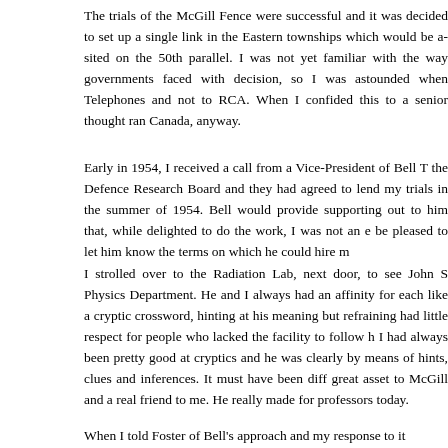The trials of the McGill Fence were successful and it was de set up a single link in the Eastern townships which would be sited on the 50th parallel. I was not yet familiar with the governments faced with decision, so I was astounded wher Telephones and not to RCA. When I confided this to a senior thought ran Canada, anyway.
Early in 1954, I received a call from a Vice-President of Bell T the Defence Research Board and they had agreed to lend my trials in the summer of 1954. Bell would provide supporting out to him that, while delighted to do the work, I was not an be pleased to let him know the terms on which he could hire m
I strolled over to the Radiation Lab, next door, to see John S Physics Department. He and I always had an affinity for eacl like a cryptic crossword, hinting at his meaning but refrainir had little respect for people who lacked the facility to follow I had always been pretty good at cryptics and he was clearly by means of hints, clues and inferences. It must have been dif great asset to McGill and a real friend to me. He really made for professors today.
When I told Foster of Bell's approach and my response to it